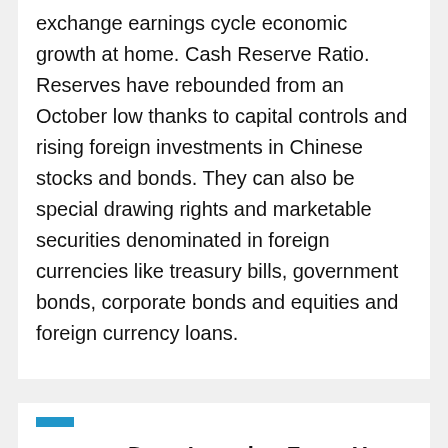exchange earnings cycle economic growth at home. Cash Reserve Ratio. Reserves have rebounded from an October low thanks to capital controls and rising foreign investments in Chinese stocks and bonds. They can also be special drawing rights and marketable securities denominated in foreign currencies like treasury bills, government bonds, corporate bonds and equities and foreign currency loans.
□□□□ □□ Deep Learning Forex You Have Truly!
□□□ □□ □□ □□ ABC overseas remittance account